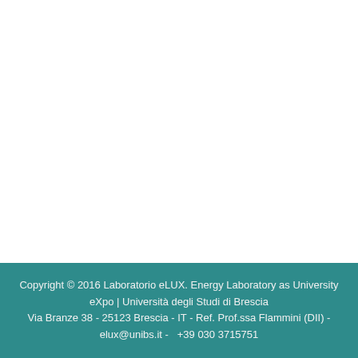Copyright © 2016 Laboratorio eLUX. Energy Laboratory as University eXpo | Università degli Studi di Brescia
Via Branze 38 - 25123 Brescia - IT - Ref. Prof.ssa Flammini (DII) - elux@unibs.it -   +39 030 3715751